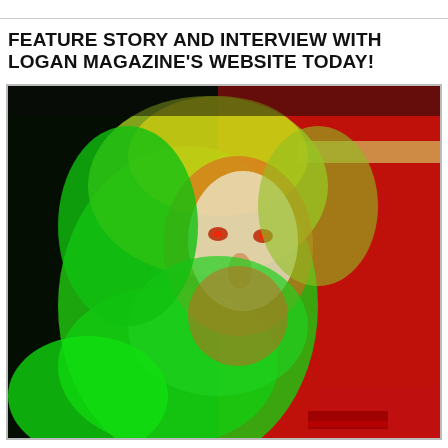FEATURE STORY AND INTERVIEW WITH LOGAN MAGAZINE'S WEBSITE TODAY!
[Figure (photo): A colorful, psychedelic photograph of a face (resembling a religious icon or Jesus figure) illuminated with vivid green, red, and yellow light projections, set against a dark background with red and green hues.]